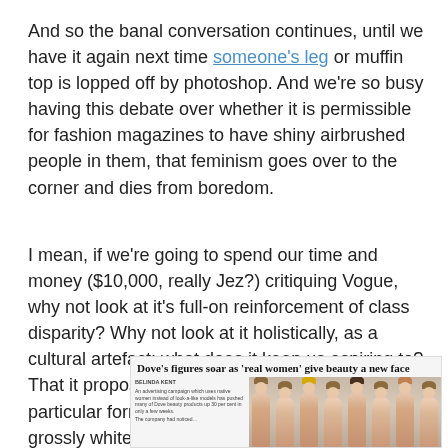And so the banal conversation continues, until we have it again next time someone's leg or muffin top is lopped off by photoshop. And we're so busy having this debate over whether it is permissible for fashion magazines to have shiny airbrushed people in them, that feminism goes over to the corner and dies from boredom.
I mean, if we're going to spend our time and money ($10,000, really Jez?) critiquing Vogue, why not look at it's full-on reinforcement of class disparity? Why not look at it holistically, as a cultural artefact: what does it keep us aspiring to? That it proposes a vision of beauty that isn't just a particular form of femininity, but is perhaps more grossly white, upper-class and heterosexual?
[Figure (photo): Newspaper clipping with headline 'Dove's figures soar as 'real women' give beauty a new face' with small body text column on left and a photo of multiple women on the right]